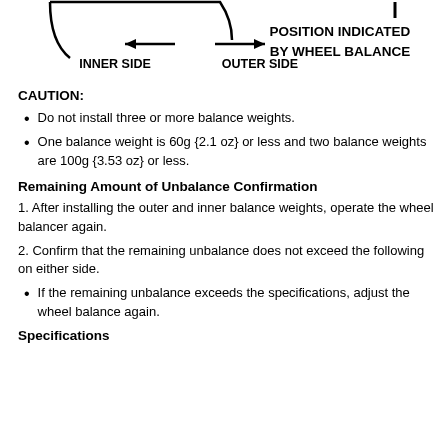[Figure (engineering-diagram): Diagram showing a wheel cross-section with arrows indicating INNER SIDE (left arrow) and OUTER SIDE (right arrow), and text POSITION INDICATED BY WHEEL BALANCE on the upper right.]
CAUTION:
Do not install three or more balance weights.
One balance weight is 60g {2.1 oz} or less and two balance weights are 100g {3.53 oz} or less.
Remaining Amount of Unbalance Confirmation
1. After installing the outer and inner balance weights, operate the wheel balancer again.
2. Confirm that the remaining unbalance does not exceed the following on either side.
If the remaining unbalance exceeds the specifications, adjust the wheel balance again.
Specifications